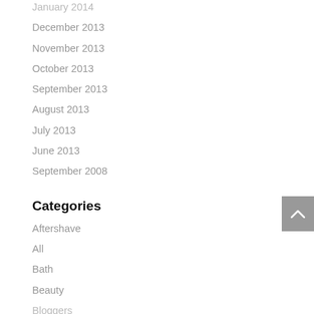January 2014
December 2013
November 2013
October 2013
September 2013
August 2013
July 2013
June 2013
September 2008
Categories
Aftershave
All
Bath
Beauty
Bloggers